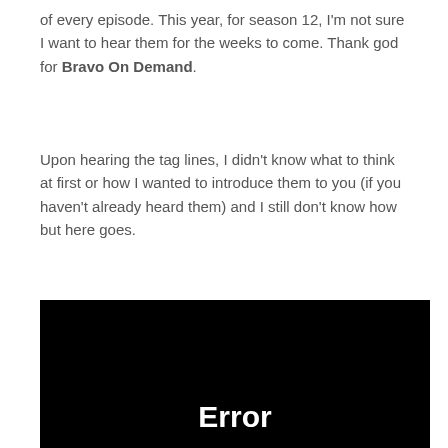of every episode. This year, for season 12, I'm not sure I want to hear them for the weeks to come. Thank god for Bravo On Demand.
Upon hearing the tag lines, I didn't know what to think at first or how I wanted to introduce them to you (if you haven't already heard them) and I still don't know how but here goes.
[Figure (screenshot): Black video player background with white bold text reading 'Error' at the bottom center]